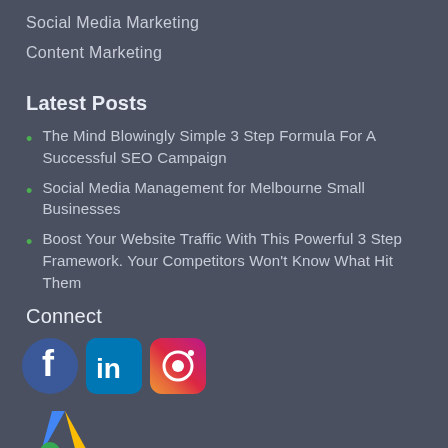Social Media Marketing
Content Marketing
Latest Posts
The Mind Blowingly Simple 3 Step Formula For A Successful SEO Campaign
Social Media Management for Melbourne Small Businesses
Boost Your Website Traffic With This Powerful 3 Step Framework. Your Competitors Won't Know What Hit Them
Connect
[Figure (logo): Facebook, LinkedIn, and Instagram social media icons]
[Figure (logo): Google Ads logo with triangle icon and text]